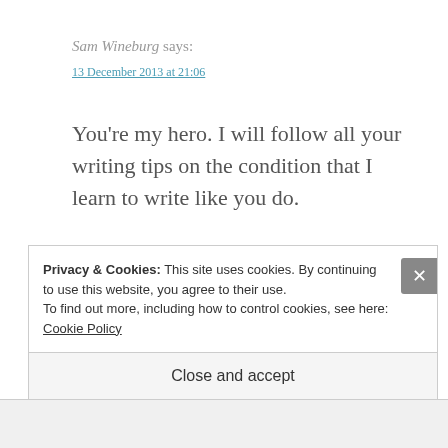Sam Wineburg says:
13 December 2013 at 21:06
You’re my hero. I will follow all your writing tips on the condition that I learn to write like you do.
★ Liked by 1 person
Privacy & Cookies: This site uses cookies. By continuing to use this website, you agree to their use.
To find out more, including how to control cookies, see here: Cookie Policy
Close and accept